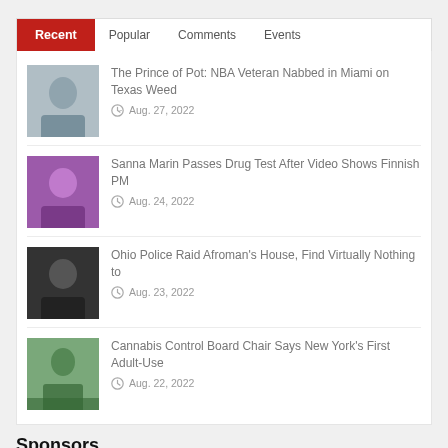Recent | Popular | Comments | Events
The Prince of Pot: NBA Veteran Nabbed in Miami on Texas Weed — Aug. 27, 2022
Sanna Marin Passes Drug Test After Video Shows Finnish PM — Aug. 24, 2022
Ohio Police Raid Afroman's House, Find Virtually Nothing to — Aug. 23, 2022
Cannabis Control Board Chair Says New York's First Adult-Use — Aug. 22, 2022
Sponsors